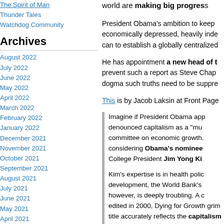The Spirit of Man
Thunder Tales
Watchdog Community
Archives
August 2022
July 2022
June 2022
May 2022
April 2022
March 2022
February 2022
January 2022
December 2021
November 2021
October 2021
September 2021
August 2021
July 2021
June 2021
May 2021
April 2021
March 2021
February 2021
January 2021
December 2020
November 2020
October 2020
September 2020
August 2020
world are making big progress
President Obama's ambition to keep economically depressed, heavily inde can to establish a globally centralized
He has appointment a new head of t prevent such a report as Steve Chap dogma such truths need to be suppre
This is by Jacob Laksin at Front Page
Imagine if President Obama app denounced capitalism as a "mu committee on economic growth. considering Obama's nominee College President Jim Yong Ki
Kim's expertise is in health polic development, the World Bank's however, is deeply troubling. A c edited in 2000, Dying for Growth grim title accurately reflects the capitalism and economic gro introduction, which Kim co-auth bluntly: "The studies in this boo